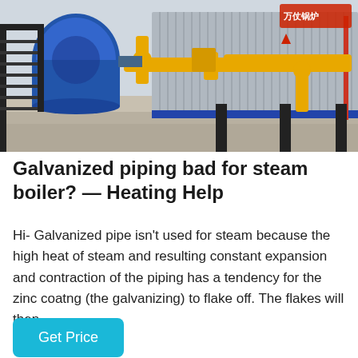[Figure (photo): Industrial steam boiler facility with large blue cylindrical boiler on the left, yellow gas piping in the center, and a long silver corrugated metal boiler unit on the right. Black metal staircases and support columns visible. Indoor industrial setting with concrete floor.]
Galvanized piping bad for steam boiler? — Heating Help
Hi- Galvanized pipe isn't used for steam because the high heat of steam and resulting constant expansion and contraction of the piping has a tendency for the zinc coatng (the galvanizing) to flake off. The flakes will then…
Get Price